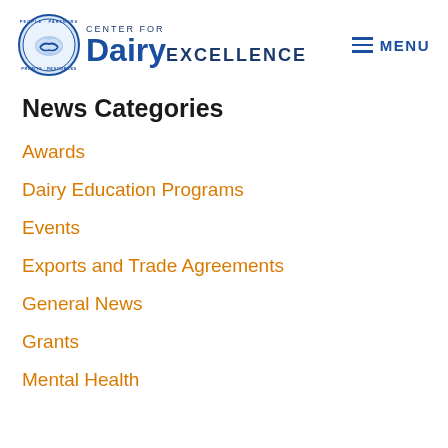[Figure (logo): Center for Dairy Excellence logo with circular badge and text]
News Categories
Awards
Dairy Education Programs
Events
Exports and Trade Agreements
General News
Grants
Mental Health